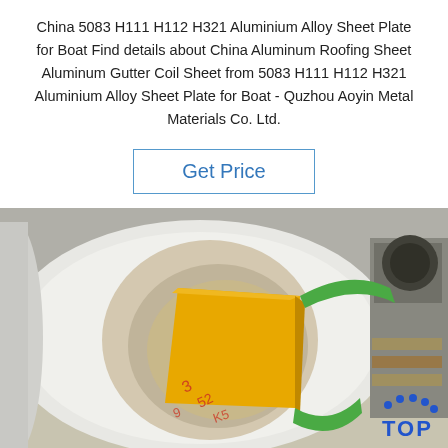China 5083 H111 H112 H321 Aluminium Alloy Sheet Plate for Boat Find details about China Aluminum Roofing Sheet Aluminum Gutter Coil Sheet from 5083 H111 H112 H321 Aluminium Alloy Sheet Plate for Boat - Quzhou Aoyin Metal Materials Co. Ltd.
Get Price
[Figure (photo): Photo of a large white aluminium coil roll with a yellow protective cardboard insert visible inside the hollow core. A green strap is securing the coil. Red handwritten markings are visible on the cardboard. In the background are stacked materials and industrial equipment. A blue 'TOP' logo with dotted arc above is visible in the bottom-right corner.]